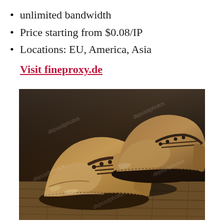unlimited bandwidth
Price starting from $0.08/IP
Locations: EU, America, Asia
Visit fineproxy.de
[Figure (photo): A pair of old, worn, dirty brown leather shoes with laces, sitting on a wooden floor surface. Watermark text 'depositphotos' visible in multiple places across the image.]